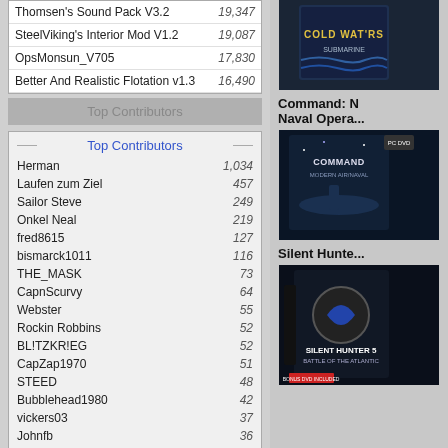| Mod | Downloads |
| --- | --- |
| Thomsen's Sound Pack V3.2 | 19,347 |
| SteelViking's Interior Mod V1.2 | 19,087 |
| OpsMonsun_V705 | 17,830 |
| Better And Realistic Flotation v1.3 | 16,490 |
Top Contributors
| Contributor | Score |
| --- | --- |
| Herman | 1,034 |
| Laufen zum Ziel | 457 |
| Sailor Steve | 249 |
| Onkel Neal | 219 |
| fred8615 | 127 |
| bismarck1011 | 116 |
| THE_MASK | 73 |
| CapnScurvy | 64 |
| Webster | 55 |
| Rockin Robbins | 52 |
| BL!TZKR!EG | 52 |
| CapZap1970 | 51 |
| STEED | 48 |
| Bubblehead1980 | 42 |
| vickers03 | 37 |
| Johnfb | 36 |
| Lt commander lare | 35 |
| ddrgn | 30 |
| reaper7 | 30 |
| blackswan40 | 29 |
| sergei | 29 |
[Figure (photo): Cold Waters game box art]
Command: Naval Opera...
[Figure (photo): Command Naval Operations game box art]
Silent Hunte...
[Figure (photo): Silent Hunter 5 Battle of the Atlantic game box art]